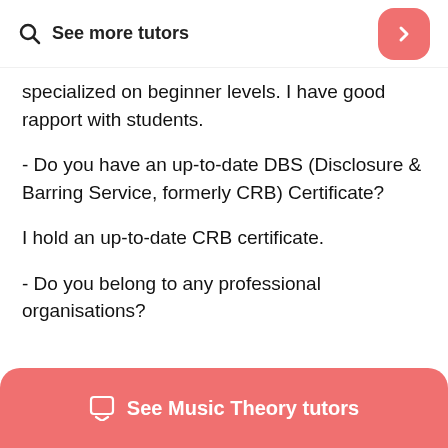See more tutors
specialized on beginner levels. I have good rapport with students.
- Do you have an up-to-date DBS (Disclosure & Barring Service, formerly CRB) Certificate?
I hold an up-to-date CRB certificate.
- Do you belong to any professional organisations?
See Music Theory tutors